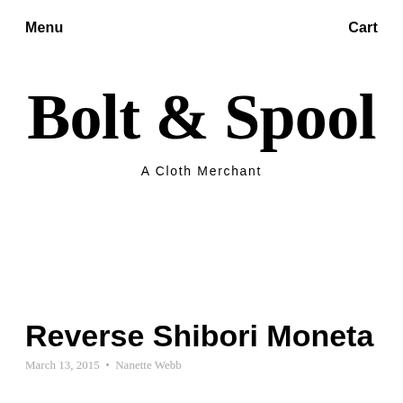Menu    Cart
Bolt & Spool
A Cloth Merchant
Reverse Shibori Moneta
March 13, 2015  •  Nanette Webb